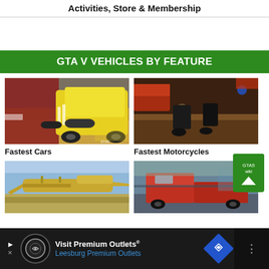Activities, Store & Membership
GTA V VEHICLES BY FEATURE
[Figure (photo): GTA V yellow sports car racing, seen from behind with red car on left]
Fastest Cars
[Figure (photo): GTA V motorcycles driving on a dirt road at night with headlights on]
Fastest Motorcycles
[Figure (photo): GTA V golden private jet aircraft flying]
[Figure (photo): GTA V red truck on a mountain road]
[Figure (screenshot): Advertisement banner: Visit Premium Outlets - Leesburg Premium Outlets]